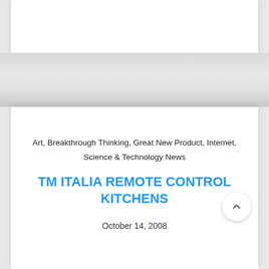Art, Breakthrough Thinking, Great New Product, Internet, Science & Technology News
TM ITALIA REMOTE CONTROL KITCHENS
October 14, 2008